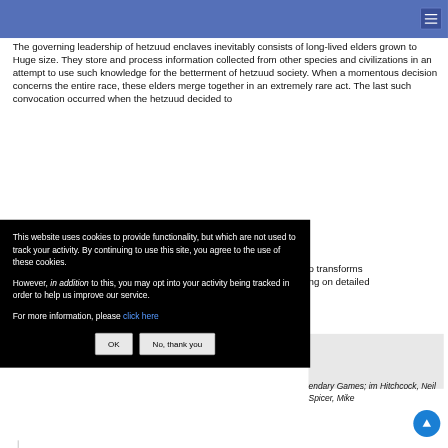[Figure (screenshot): Blue top navigation bar with hamburger menu icon (three horizontal white lines on dark blue button)]
The governing leadership of hetzuud enclaves inevitably consists of long-lived elders grown to Huge size. They store and process information collected from other species and civilizations in an attempt to use such knowledge for the betterment of hetzuud society. When a momentous decision concerns the entire race, these elders merge together in an extremely rare act. The last such convocation occurred when the hetzuud decided to
o transforms ng on detailed
This website uses cookies to provide functionality, but which are not used to track your activity. By continuing to use this site, you agree to the use of these cookies.

However, in addition to this, you may opt into your activity being tracked in order to help us improve our service.

For more information, please click here
OK   No, thank you
endary Games; im Hitchcock, Neil Spicer, Mike